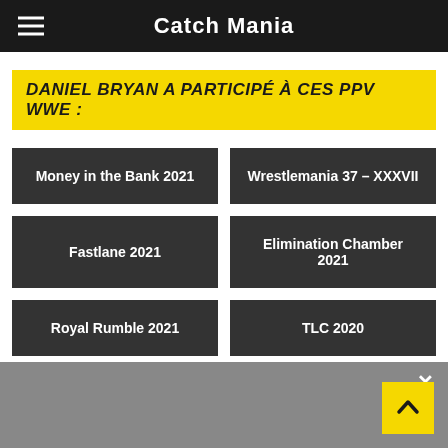Catch Mania
DANIEL BRYAN A PARTICIPÉ À CES PPV WWE :
Money in the Bank 2021
Wrestlemania 37 – XXXVII
Fastlane 2021
Elimination Chamber 2021
Royal Rumble 2021
TLC 2020
Money in the Bank 2020
Wrestlemania 36 – 2020